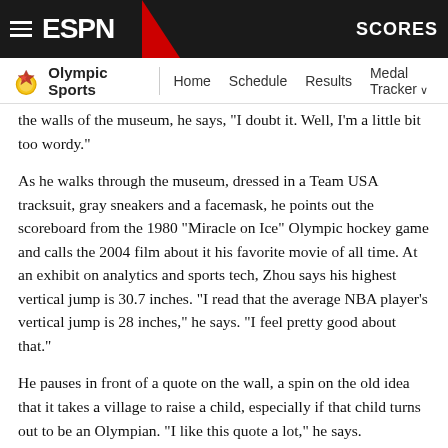ESPN — Olympic Sports | Home | Schedule | Results | Medal Tracker
the walls of the museum, he says, "I doubt it. Well, I'm a little bit too wordy."
As he walks through the museum, dressed in a Team USA tracksuit, gray sneakers and a facemask, he points out the scoreboard from the 1980 "Miracle on Ice" Olympic hockey game and calls the 2004 film about it his favorite movie of all time. At an exhibit on analytics and sports tech, Zhou says his highest vertical jump is 30.7 inches. "I read that the average NBA player's vertical jump is 28 inches," he says. "I feel pretty good about that."
He pauses in front of a quote on the wall, a spin on the old idea that it takes a village to raise a child, especially if that child turns out to be an Olympian. "I like this quote a lot," he says.